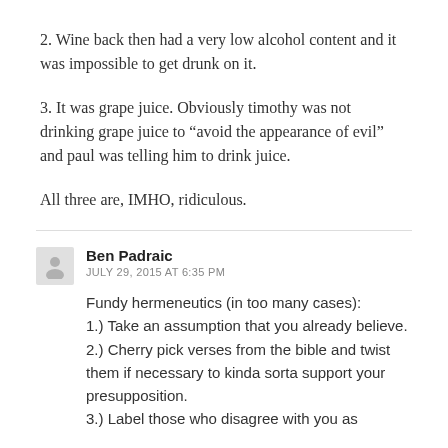2. Wine back then had a very low alcohol content and it was impossible to get drunk on it.
3. It was grape juice. Obviously timothy was not drinking grape juice to “avoid the appearance of evil” and paul was telling him to drink juice.
All three are, IMHO, ridiculous.
Ben Padraic
JULY 29, 2015 AT 6:35 PM
Fundy hermeneutics (in too many cases):
1.) Take an assumption that you already believe.
2.) Cherry pick verses from the bible and twist them if necessary to kinda sorta support your presupposition.
3.) Label those who disagree with you as